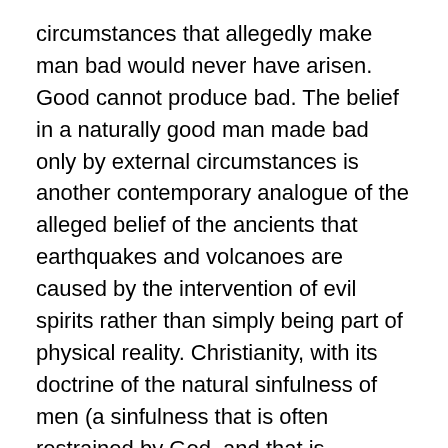circumstances that allegedly make man bad would never have arisen. Good cannot produce bad. The belief in a naturally good man made bad only by external circumstances is another contemporary analogue of the alleged belief of the ancients that earthquakes and volcanoes are caused by the intervention of evil spirits rather than simply being part of physical reality. Christianity, with its doctrine of the natural sinfulness of men (a sinfulness that is often restrained by God, and that is overcome in some by Jesus Christ), corrects liberalism's erroneous description of man.
.
Liberalism holds that traditional societies are radically unjust and must be radically changed so as to be brought into accord with liberal principles.